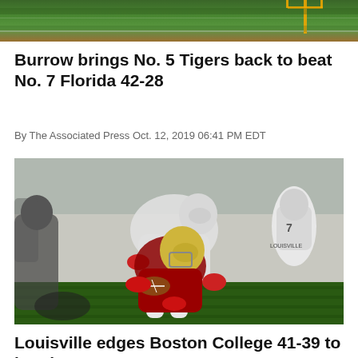[Figure (photo): Top portion of a football field photo showing green grass and goal post, partially cropped]
Burrow brings No. 5 Tigers back to beat No. 7 Florida 42-28
By The Associated Press Oct. 12, 2019 06:41 PM EDT
[Figure (photo): Football game action photo showing a Louisville player tackling a Boston College player carrying the ball, with other players in background]
Louisville edges Boston College 41-39 to break ACC…